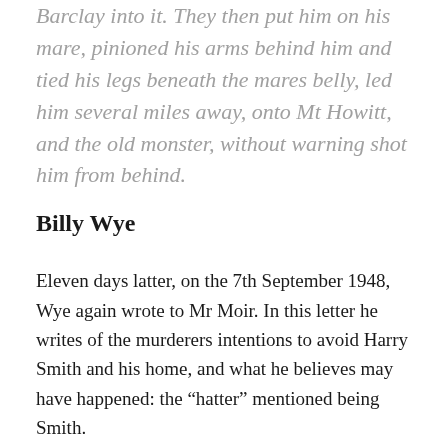Barclay into it. They then put him on his mare, pinioned his arms behind him and tied his legs beneath the mares belly, led him several miles away, onto Mt Howitt, and the old monster, without warning shot him from behind.
Billy Wye
Eleven days latter, on the 7th September 1948, Wye again wrote to Mr Moir. In this letter he writes of the murderers intentions to avoid Harry Smith and his home, and what he believes may have happened: the “hatter” mentioned being Smith.
Nothing could pass this hatter’s camp but what he saw or heard of it, he was keen and